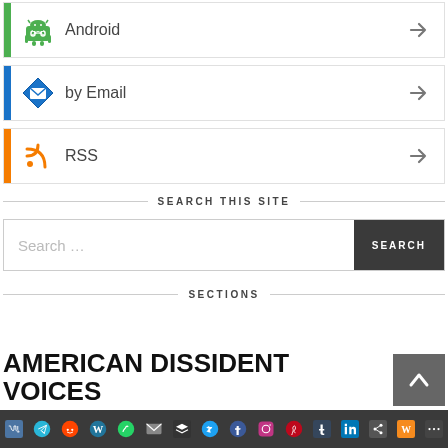Android →
by Email →
RSS →
SEARCH THIS SITE
Search …
SECTIONS
AMERICAN DISSIDENT VOICES
[Figure (infographic): Social sharing icons bar at bottom: VK, Telegram, Reddit, WordPress, WhatsApp, Email, Buffer, Twitter, Facebook, Instagram, Pinterest, Tumblr, LinkedIn, Share, Wattpad, Share]